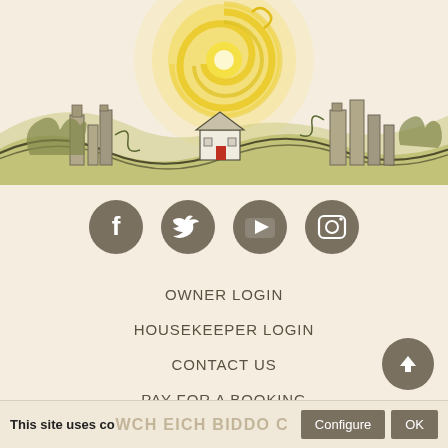[Figure (illustration): Decorative illustration of a rural landscape with rolling hills, a small white cottage with a red door, stone ruins on either side, and a large yellow spiral sun in the background on a cream-colored background.]
[Figure (infographic): Four circular social media icon buttons (Facebook, Twitter, YouTube, Instagram) in dark olive/grey color with white icons, arranged horizontally.]
OWNER LOGIN
HOUSEKEEPER LOGIN
CONTACT US
PAY FOR A BOOKING
This site uses cookies. Configure OK